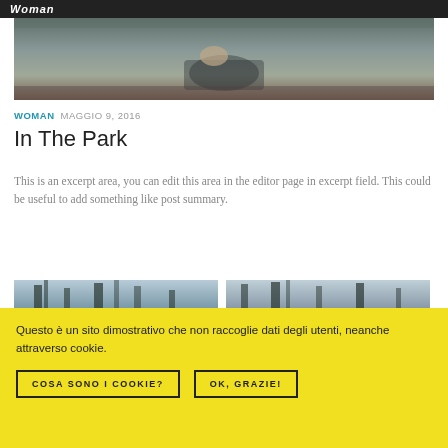Woman
[Figure (photo): A woman sitting on a wooden bench outdoors, viewed from above, wearing dark clothing, with greenery in background.]
WOMAN  MAGGIO 9, 2016
In The Park
This is an excerpt area, you can edit this area in the editor page in excerpt field. This could be useful to add something like post summary.
[Figure (photo): Two side-by-side outdoor photos showing trees with light filtering through branches.]
Questo è un sito dimostrativo che non raccoglie dati degli utenti, neanche attraverso cookie.
COSA SONO I COOKIE?   OK, GRAZIE!